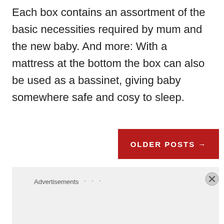Each box contains an assortment of the basic necessities required by mum and the new baby. And more: With a mattress at the bottom the box can also be used as a bassinet, giving baby somewhere safe and cosy to sleep.
OLDER POSTS →
Advertisements